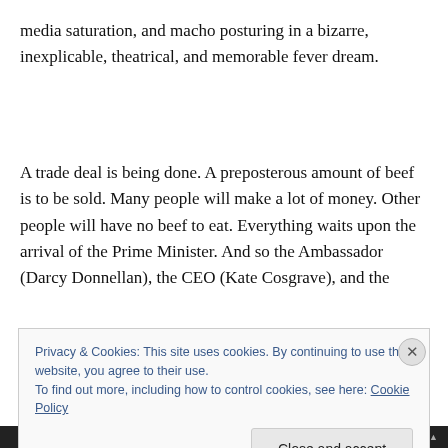media saturation, and macho posturing in a bizarre, inexplicable, theatrical, and memorable fever dream.
A trade deal is being done. A preposterous amount of beef is to be sold. Many people will make a lot of money. Other people will have no beef to eat. Everything waits upon the arrival of the Prime Minister. And so the Ambassador (Darcy Donnellan), the CEO (Kate Cosgrave), and the
Privacy & Cookies: This site uses cookies. By continuing to use this website, you agree to their use.
To find out more, including how to control cookies, see here: Cookie Policy
Close and accept